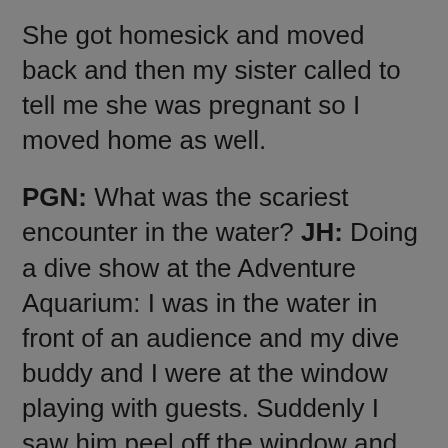She got homesick and moved back and then my sister called to tell me she was pregnant so I moved home as well.
PGN: What was the scariest encounter in the water? JH: Doing a dive show at the Adventure Aquarium: I was in the water in front of an audience and my dive buddy and I were at the window playing with guests. Suddenly I saw him peel off the window and start swimming backward. I was like, What's he doing? And then I saw a sand tiger shark coming right toward my head and I thought, Holy cow, that's a really big shark right coming my way. The way we position ourselves, we're in the water with them, but never get that close to the sharks. I floated off the window and he swam past me without incident, but it was a bit unnerving